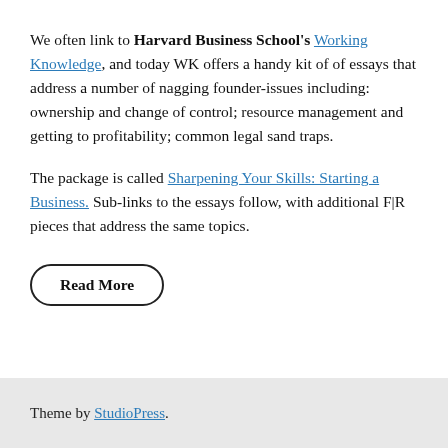We often link to Harvard Business School's Working Knowledge, and today WK offers a handy kit of of essays that address a number of nagging founder-issues including: ownership and change of control; resource management and getting to profitability; common legal sand traps.
The package is called Sharpening Your Skills: Starting a Business. Sub-links to the essays follow, with additional F|R pieces that address the same topics.
Read More
Theme by StudioPress.